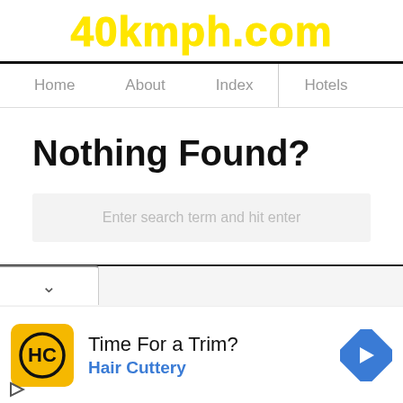40kmph.com
Home   About   Index   Hotels
Nothing Found?
Enter search term and hit enter
[Figure (screenshot): Ad bar with chevron dropdown, Hair Cuttery advertisement with logo, title 'Time For a Trim?', subtitle 'Hair Cuttery', and navigation arrow icon]